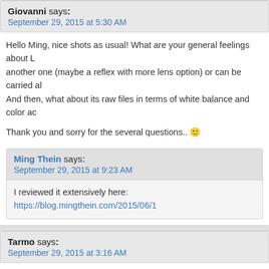Giovanni says: September 29, 2015 at 5:30 AM
Hello Ming, nice shots as usual! What are your general feelings about L... another one (maybe a reflex with more lens option) or can be carried al... And then, what about its raw files in terms of white balance and color ac...
Thank you and sorry for the several questions.. 🙂
Ming Thein says: September 29, 2015 at 9:23 AM
I reviewed it extensively here: https://blog.mingthein.com/2015/06/10
Tarmo says: September 29, 2015 at 3:16 AM
This set and – even more so – its recent "Observations" sibling make m... to the perspective which is usually not possible with 35mm (however, w...